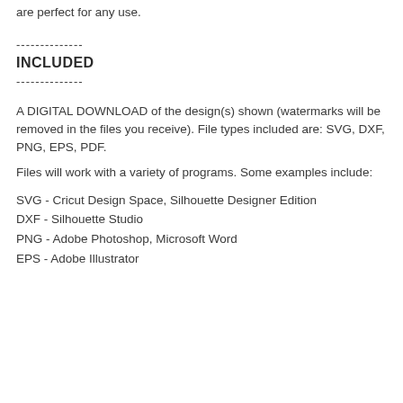are perfect for any use.
--------------
INCLUDED
--------------
A DIGITAL DOWNLOAD of the design(s) shown (watermarks will be removed in the files you receive). File types included are: SVG, DXF, PNG, EPS, PDF.
Files will work with a variety of programs. Some examples include:
SVG - Cricut Design Space, Silhouette Designer Edition
DXF - Silhouette Studio
PNG - Adobe Photoshop, Microsoft Word
EPS - Adobe Illustrator